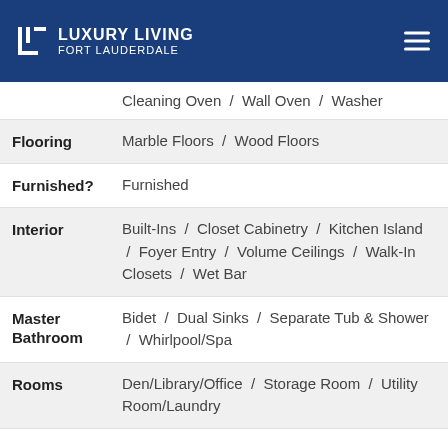Luxury Living Fort Lauderdale
Cleaning Oven / Wall Oven / Washer
Flooring: Marble Floors / Wood Floors
Furnished?: Furnished
Interior: Built-Ins / Closet Cabinetry / Kitchen Island / Foyer Entry / Volume Ceilings / Walk-In Closets / Wet Bar
Master Bathroom: Bidet / Dual Sinks / Separate Tub & Shower / Whirlpool/Spa
Rooms: Den/Library/Office / Storage Room / Utility Room/Laundry